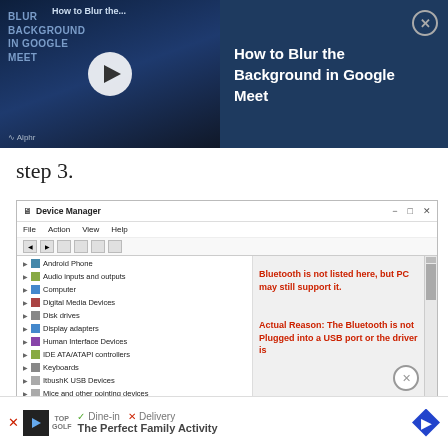[Figure (screenshot): Video thumbnail banner for 'How to Blur the Background in Google Meet' with play button overlay and Alphr logo, on a dark blue background. Right panel shows title text on dark blue with close (X) button.]
step 3.
[Figure (screenshot): Windows Device Manager window showing a list of device categories: Android Phone, Audio inputs and outputs, Computer, Digital Media Devices, Disk drives, Display adapters, Human Interface Devices, IDE ATA/ATAPI controllers, Keyboards, ItbushK USB Devices, Mice and other pointing devices, Monitors, Network adapters, Portable Devices, Ports (COM & LPT), Print queues, Processors, Software devices, Sound, video and game controllers, Storage controllers. Red annotation text: 'Bluetooth is not listed here, but PC may still support it.' and 'Actual Reason: The Bluetooth is not Plugged into a USB port or the driver is']
[Figure (screenshot): Advertisement banner at bottom: Topgolf ad with check mark 'Dine-in', X 'Delivery', play icon, Topgolf logo, blue diamond arrow navigation icon, 'The Perfect Family Activity']